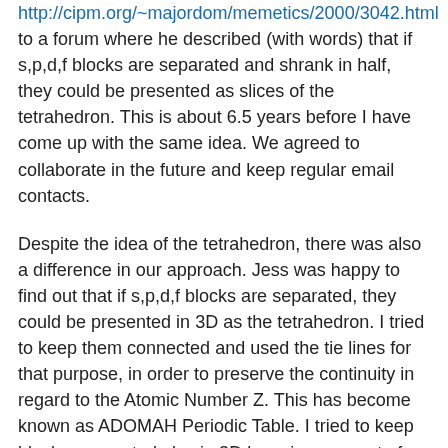http://cipm.org/~majordom/memetics/2000/3042.html to a forum where he described (with words) that if s,p,d,f blocks are separated and shrank in half, they could be presented as slices of the tetrahedron. This is about 6.5 years before I have come up with the same idea. We agreed to collaborate in the future and keep regular email contacts.
Despite the idea of the tetrahedron, there was also a difference in our approach. Jess was happy to find out that if s,p,d,f blocks are separated, they could be presented in 3D as the tetrahedron. I tried to keep them connected and used the tie lines for that purpose, in order to preserve the continuity in regard to the Atomic Number Z. This has become known as ADOMAH Periodic Table. I tried to keep blocks connected also in 3D by using concept of the tetrahedral packing of spheres that led me 3D representation of the Aufbau process.